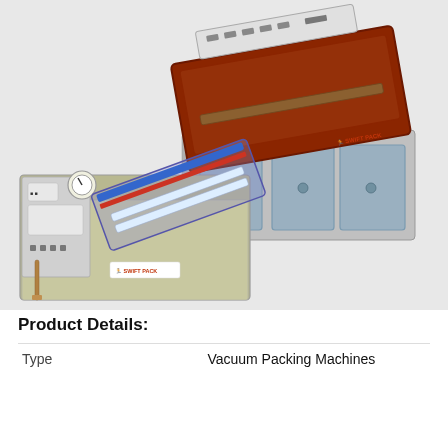[Figure (photo): Two vacuum packing machines by Swift Pack. Top image shows a large vacuum chamber machine with a red acrylic lid open, revealing three stainless steel trays inside. Bottom image shows a smaller boxy stainless steel vacuum packing machine with a transparent lid open, showing sealing bars inside, and control panel with gauges on the front.]
Product Details:
| Type |  |
| --- | --- |
| Type | Vacuum Packing Machines |